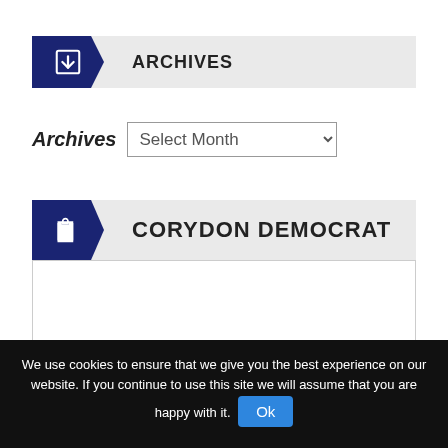ARCHIVES
Archives  Select Month
CORYDON DEMOCRAT
FOLLOW THE CORYDON DEMOCRAT
We use cookies to ensure that we give you the best experience on our website. If you continue to use this site we will assume that you are happy with it.  Ok